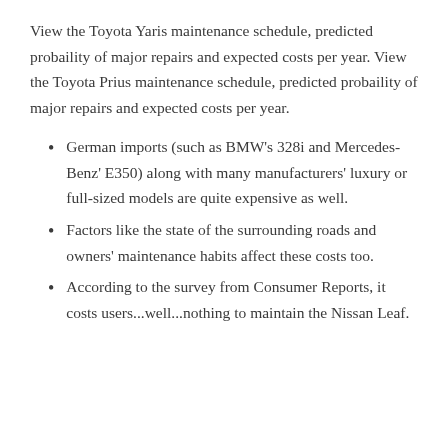View the Toyota Yaris maintenance schedule, predicted probaility of major repairs and expected costs per year. View the Toyota Prius maintenance schedule, predicted probaility of major repairs and expected costs per year.
German imports (such as BMW's 328i and Mercedes-Benz' E350) along with many manufacturers' luxury or full-sized models are quite expensive as well.
Factors like the state of the surrounding roads and owners' maintenance habits affect these costs too.
According to the survey from Consumer Reports, it costs users...well...nothing to maintain the Nissan Leaf.